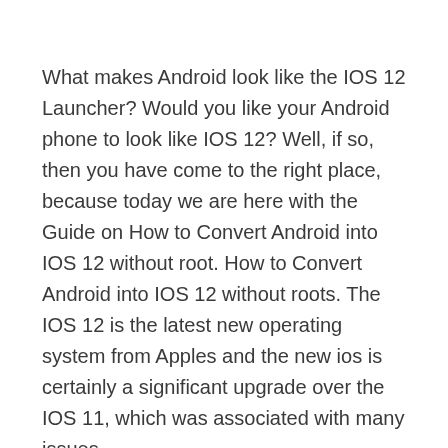What makes Android look like the IOS 12 Launcher? Would you like your Android phone to look like IOS 12? Well, if so, then you have come to the right place, because today we are here with the Guide on How to Convert Android into IOS 12 without root. How to Convert Android into IOS 12 without roots. The IOS 12 is the latest new operating system from Apples and the new ios is certainly a significant upgrade over the IOS 11, which was associated with many issues.